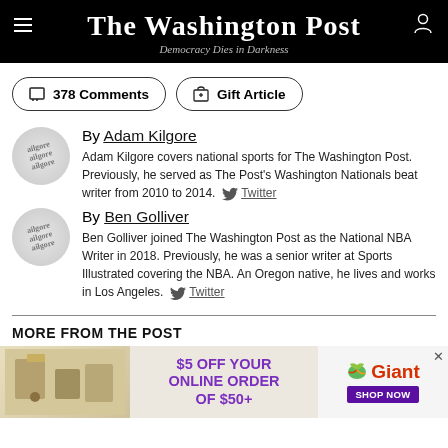The Washington Post — Democracy Dies in Darkness
□ 378 Comments   🎁 Gift Article
By Adam Kilgore
Adam Kilgore covers national sports for The Washington Post. Previously, he served as The Post's Washington Nationals beat writer from 2010 to 2014. Twitter
By Ben Golliver
Ben Golliver joined The Washington Post as the National NBA Writer in 2018. Previously, he was a senior writer at Sports Illustrated covering the NBA. An Oregon native, he lives and works in Los Angeles. Twitter
MORE FROM THE POST
[Figure (photo): Giant grocery advertisement: $5 off your online order of $50+, Shop Now button, Giant logo with leaf icon]